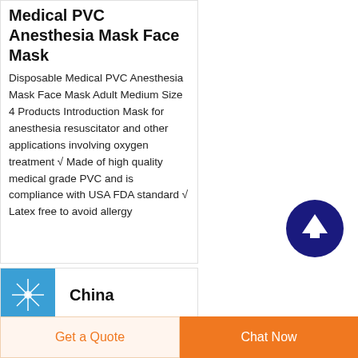Medical PVC Anesthesia Mask Face Mask
Disposable Medical PVC Anesthesia Mask Face Mask Adult Medium Size 4 Products Introduction Mask for anesthesia resuscitator and other applications involving oxygen treatment √ Made of high quality medical grade PVC and is compliance with USA FDA standard √ Latex free to avoid allergy
[Figure (illustration): Scroll-to-top button: dark navy blue circle with white upward arrow]
[Figure (photo): Thumbnail image with blue background showing a medical face mask product, labeled China]
China
Get a Quote
Chat Now